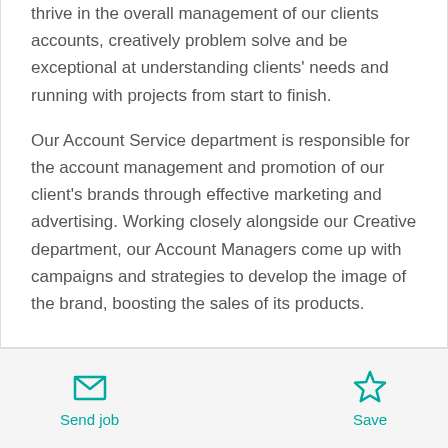thrive in the overall management of our clients accounts, creatively problem solve and be exceptional at understanding clients' needs and running with projects from start to finish.

Our Account Service department is responsible for the account management and promotion of our client's brands through effective marketing and advertising. Working closely alongside our Creative department, our Account Managers come up with campaigns and strategies to develop the image of the brand, boosting the sales of its products.
Send job | Save